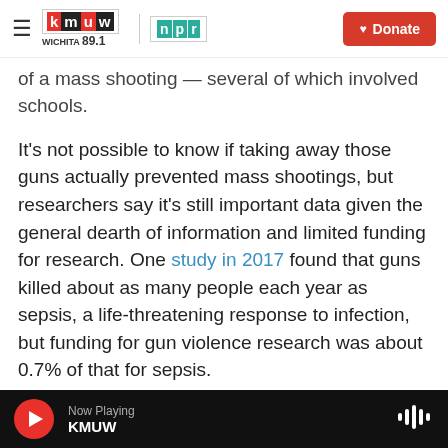KMUW Wichita 89.1 | NPR | Donate
of a mass shooting — several of which involved schools.
It's not possible to know if taking away those guns actually prevented mass shootings, but researchers say it's still important data given the general dearth of information and limited funding for research. One study in 2017 found that guns killed about as many people each year as sepsis, a life-threatening response to infection, but funding for gun violence research was about 0.7% of that for sepsis.
"There's so many things to study in the gun area
Now Playing KMUW